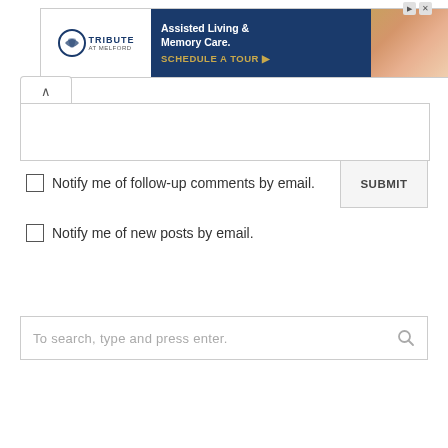[Figure (other): Advertisement banner for Tribute at Melford assisted living facility showing logo, 'Assisted Living & Memory Care. SCHEDULE A TOUR ▸' text, and a photo of elderly person]
Notify me of follow-up comments by email.
SUBMIT
Notify me of new posts by email.
To search, type and press enter.